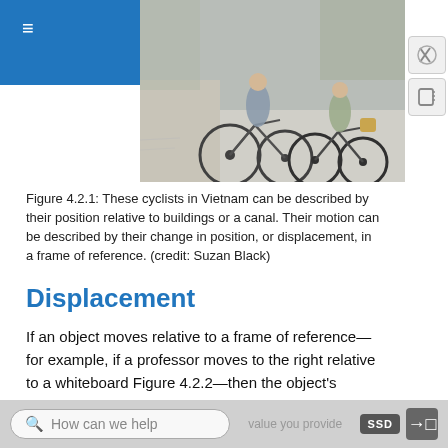[Figure (photo): Two cyclists riding bicycles in Vietnam, photographed from behind, on a road near a canal and buildings.]
Figure 4.2.1: These cyclists in Vietnam can be described by their position relative to buildings or a canal. Their motion can be described by their change in position, or displacement, in a frame of reference. (credit: Suzan Black)
Displacement
If an object moves relative to a frame of reference—for example, if a professor moves to the right relative to a whiteboard Figure 4.2.2—then the object's position changes. This change in position is called displacement. The word displacement implies that an object has moved, or has been displaced. Although
How can we help